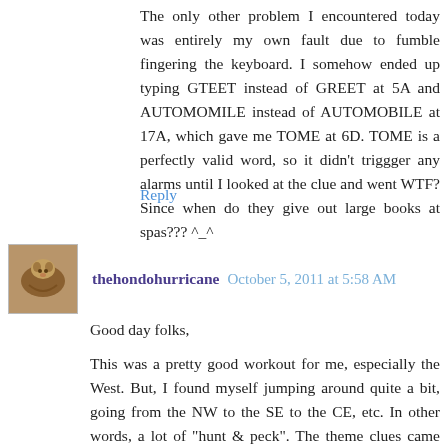The only other problem I encountered today was entirely my own fault due to fumble fingering the keyboard. I somehow ended up typing GTEET instead of GREET at 5A and AUTOMOMILE instead of AUTOMOBILE at 17A, which gave me TOME at 6D. TOME is a perfectly valid word, so it didn't triggger any alarms until I looked at the clue and went WTF? Since when do they give out large books at spas??? ^_^
Reply
thehondohurricane  October 5, 2011 at 5:58 AM
Good day folks,
This was a pretty good workout for me, especially the West. But, I found myself jumping around quite a bit, going from the NW to the SE to the CE, etc. In other words, a lot of "hunt & peck". The theme clues came together w/o too much difficulty, but I struggled with what Barry calls straightforward fills. A lot of guessing when I was a letter or two short.
A couple of screw ups slowed me down too. Had fir for yew and